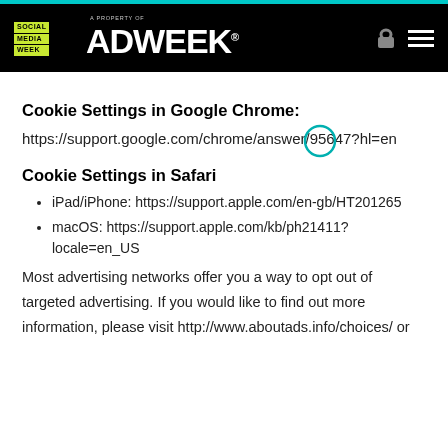Social Media Week | A Property of ADWEEK
Cookie Settings in Google Chrome:
https://support.google.com/chrome/answer/95647?hl=en
Cookie Settings in Safari
iPad/iPhone: https://support.apple.com/en-gb/HT201265
macOS: https://support.apple.com/kb/ph21411?locale=en_US
Most advertising networks offer you a way to opt out of targeted advertising. If you would like to find out more information, please visit http://www.aboutads.info/choices/ or